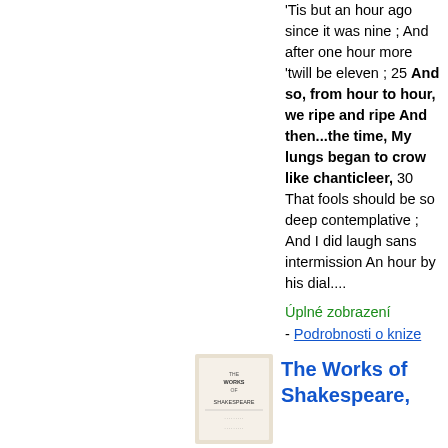'Tis but an hour ago since it was nine ; And after one hour more 'twill be eleven ; 25 And so, from hour to hour, we ripe and ripe And then...the time, My lungs began to crow like chanticleer, 30 That fools should be so deep contemplative ; And I did laugh sans intermission An hour by his dial....
Úplné zobrazení - Podrobnosti o knize
[Figure (illustration): Small thumbnail book cover of The Works of Shakespeare]
The Works of Shakespeare,